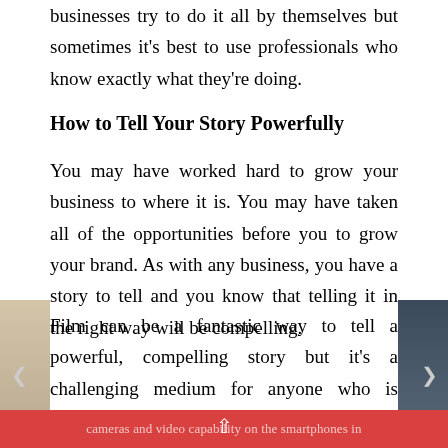businesses try to do it all by themselves but sometimes it's best to use professionals who know exactly what they're doing.
How to Tell Your Story Powerfully
You may have worked hard to grow your business to where it is. You may have taken all of the opportunities before you to grow your brand. As with any business, you have a story to tell and you know that telling it in the right way will be compelling.
Film can be a fantastic way to tell a powerful, compelling story but it's a challenging medium for anyone who is inexperienced. Most of us might have
cameras and video capability on the smartphones in